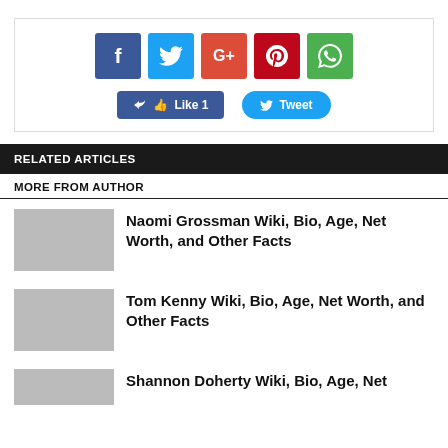[Figure (infographic): Social sharing widget with Facebook, Twitter, Google+, Pinterest, WhatsApp icon buttons, and Like 1 and Tweet action buttons]
RELATED ARTICLES
MORE FROM AUTHOR
Naomi Grossman Wiki, Bio, Age, Net Worth, and Other Facts
Tom Kenny Wiki, Bio, Age, Net Worth, and Other Facts
Shannon Doherty Wiki, Bio, Age, Net...